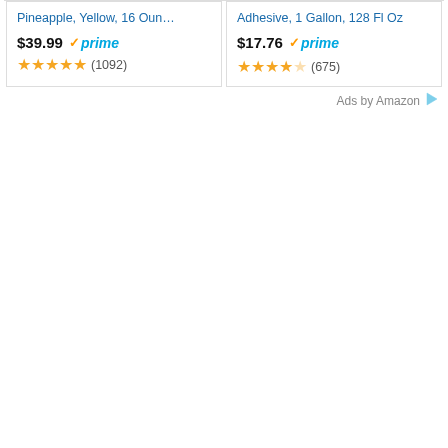Pineapple, Yellow, 16 Oun…
$39.99 prime (1092)
Adhesive, 1 Gallon, 128 Fl Oz
$17.76 prime (675)
Ads by Amazon